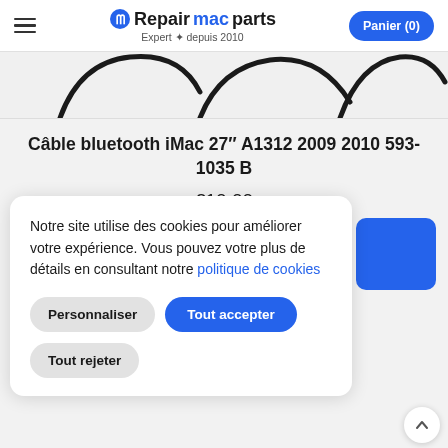Repairmacparts — Expert depuis 2010 | Panier (0)
[Figure (photo): Partial product image showing cable connectors on grey background]
Câble bluetooth iMac 27″ A1312 2009 2010 593-1035 B
€10,00
Notre site utilise des cookies pour améliorer votre expérience. Vous pouvez votre plus de détails en consultant notre politique de cookies
Personnaliser | Tout accepter | Tout rejeter